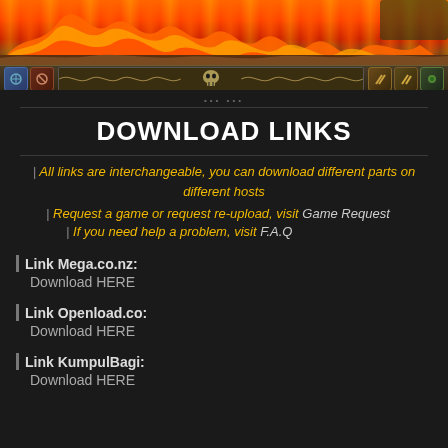[Figure (screenshot): Website header with flames/fire background and navigation bar with skull icon and wave design]
DOWNLOAD LINKS
All links are interchangeable, you can download different parts on different hosts
Request a game or request re-upload, visit Game Request
If you need help a problem, visit F.A.Q
Link Mega.co.nz:
Download HERE
Link Openload.co:
Download HERE
Link KumpulBagi:
Download HERE